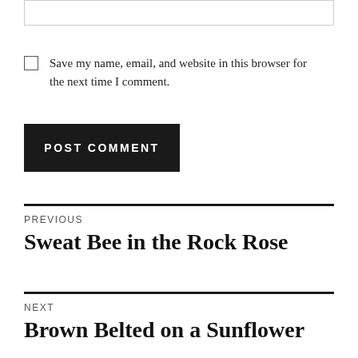Save my name, email, and website in this browser for the next time I comment.
POST COMMENT
PREVIOUS
Sweat Bee in the Rock Rose
NEXT
Brown Belted on a Sunflower